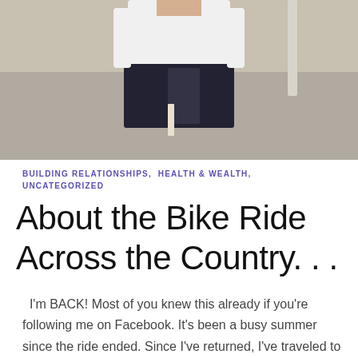[Figure (photo): A person standing on a road wearing a white sleeveless shirt and dark shorts, viewed from the torso down. The background shows a paved road with lane markings.]
BUILDING RELATIONSHIPS, HEALTH & WEALTH, UNCATEGORIZED
About the Bike Ride Across the Country. . .
I'm BACK! Most of you knew this already if you're following me on Facebook. It's been a busy summer since the ride ended. Since I've returned, I've traveled to …